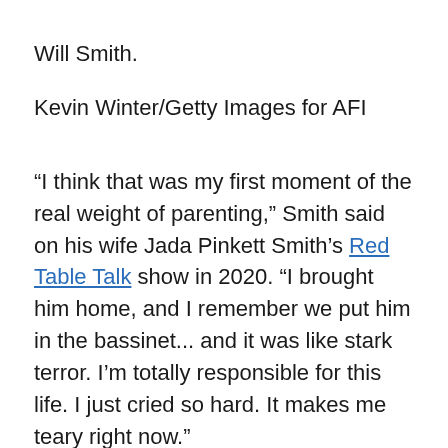Will Smith.
Kevin Winter/Getty Images for AFI
“I think that was my first moment of the real weight of parenting,” Smith said on his wife Jada Pinkett Smith’s Red Table Talk show in 2020. “I brought him home, and I remember we put him in the bassinet... and it was like stark terror. I’m totally responsible for this life. I just cried so hard. It makes me teary right now.”
“[I felt like,] I can’t do it,” he said with tears in his eyes. “I’m not the guy. I just knew I